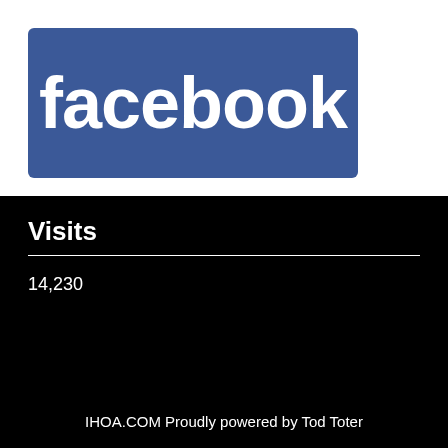[Figure (logo): Facebook logo — white text 'facebook' on blue rounded rectangle background]
Visits
14,230
IHOA.COM Proudly powered by Tod Toter